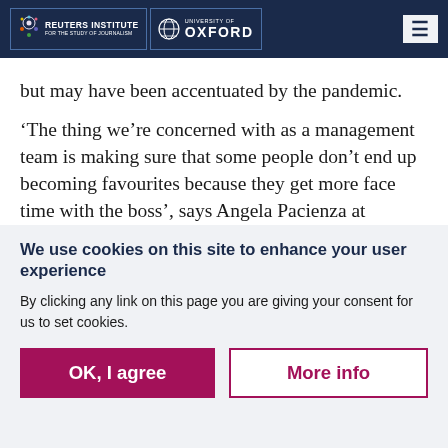Reuters Institute for the Study of Journalism | University of Oxford
but may have been accentuated by the pandemic.
‘The thing we’re concerned with as a management team is making sure that some people don’t end up becoming favourites because they get more face time with the boss’, says Angela Pacienza at
We use cookies on this site to enhance your user experience
By clicking any link on this page you are giving your consent for us to set cookies.
OK, I agree | More info